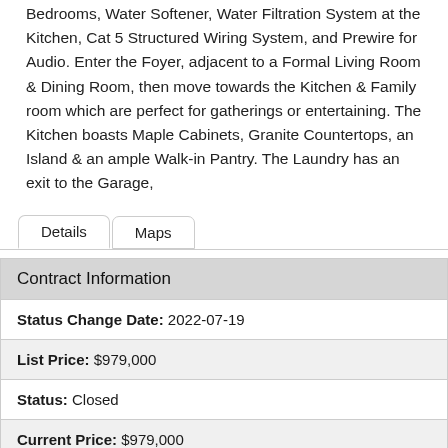Bedrooms, Water Softener, Water Filtration System at the Kitchen, Cat 5 Structured Wiring System, and Prewire for Audio. Enter the Foyer, adjacent to a Formal Living Room & Dining Room, then move towards the Kitchen & Family room which are perfect for gatherings or entertaining. The Kitchen boasts Maple Cabinets, Granite Countertops, an Island & an ample Walk-in Pantry. The Laundry has an exit to the Garage,
Details | Maps
| Field | Value |
| --- | --- |
| Contract Information |  |
| Status Change Date: | 2022-07-19 |
| List Price: | $979,000 |
| Status: | Closed |
| Current Price: | $979,000 |